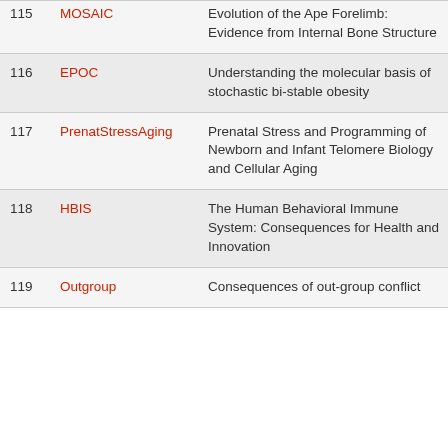| # | Code | Title |
| --- | --- | --- |
| 115 | MOSAIC | Evolution of the Ape Forelimb: Evidence from Internal Bone Structure |
| 116 | EPOC | Understanding the molecular basis of stochastic bi-stable obesity |
| 117 | PrenatStressAging | Prenatal Stress and Programming of Newborn and Infant Telomere Biology and Cellular Aging |
| 118 | HBIS | The Human Behavioral Immune System: Consequences for Health and Innovation |
| 119 | Outgroup | Consequences of out-group conflict |